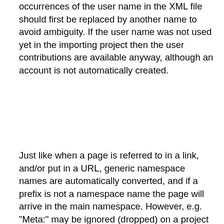occurrences of the user name in the XML file should first be replaced by another name to avoid ambiguity. If the user name was not used yet in the importing project then the user contributions are available anyway, although an account is not automatically created.
Just like when a page is referred to in a link, and/or put in a URL, generic namespace names are automatically converted, and if a prefix is not a namespace name the page will arrive in the main namespace. However, e.g. "Meta:" may be ignored (dropped) on a project that uses that prefix for interwiki linking. It may be desirable to change it in the XML file to "Project:" before importing.
If a page name exists already, importing revisions of a page with that name causes the page histories to be merged. Note that after inserting a revision between two existing revisions in the page history, the change made by